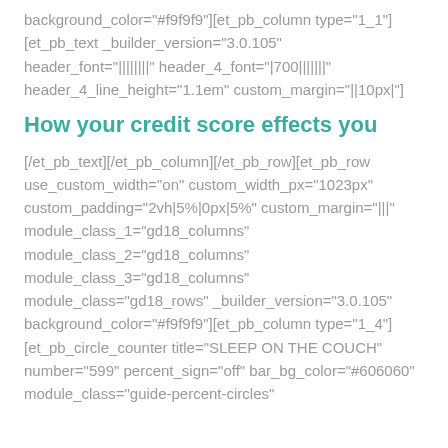background_color="#f9f9f9"][et_pb_column type="1_1"] [et_pb_text _builder_version="3.0.105" header_font="||||||||" header_4_font="|700|||||||" header_4_line_height="1.1em" custom_margin="||10px|"]
How your credit score effects you
[/et_pb_text][/et_pb_column][/et_pb_row][et_pb_row use_custom_width="on" custom_width_px="1023px" custom_padding="2vh|5%|0px|5%" custom_margin="|||" module_class_1="gd18_columns" module_class_2="gd18_columns" module_class_3="gd18_columns" module_class="gd18_rows" _builder_version="3.0.105" background_color="#f9f9f9"][et_pb_column type="1_4"] [et_pb_circle_counter title="SLEEP ON THE COUCH" number="599" percent_sign="off" bar_bg_color="#606060" module_class="guide-percent-circles"